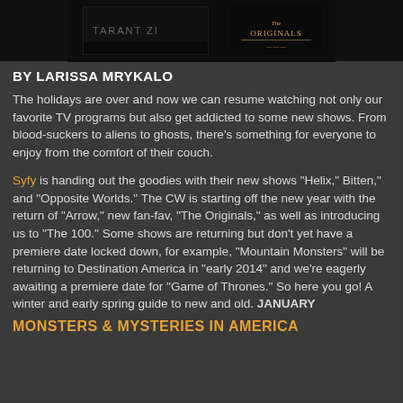[Figure (photo): Dark banner image strip with two show thumbnails — left showing a dark text title card, right showing 'The Originals' logo on dark background]
BY LARISSA MRYKALO
The holidays are over and now we can resume watching not only our favorite TV programs but also get addicted to some new shows. From blood-suckers to aliens to ghosts, there's something for everyone to enjoy from the comfort of their couch.
Syfy is handing out the goodies with their new shows "Helix," Bitten," and "Opposite Worlds." The CW is starting off the new year with the return of "Arrow," new fan-fav, "The Originals," as well as introducing us to "The 100." Some shows are returning but don't yet have a premiere date locked down, for example, "Mountain Monsters" will be returning to Destination America in "early 2014" and we're eagerly awaiting a premiere date for "Game of Thrones." So here you go! A winter and early spring guide to new and old. JANUARY
MONSTERS & MYSTERIES IN AMERICA